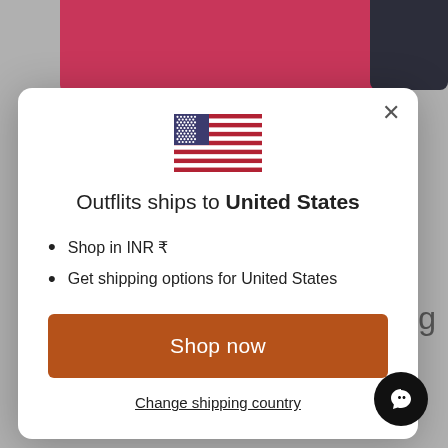[Figure (screenshot): Background showing clothing product page with pink/crimson leggings at top and grey background, partially obscured by modal dialog]
[Figure (illustration): US flag SVG illustration centered in modal]
Outflits ships to United States
Shop in INR ₹
Get shipping options for United States
Shop now
Change shipping country